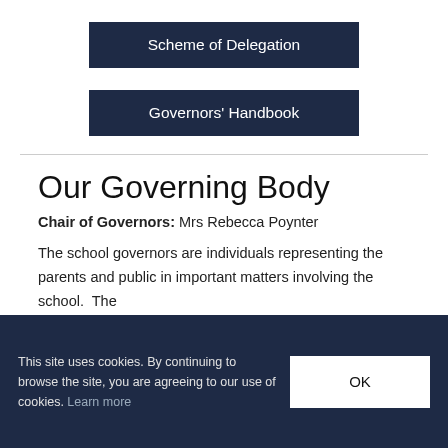Scheme of Delegation
Governors' Handbook
Our Governing Body
Chair of Governors: Mrs Rebecca Poynter
The school governors are individuals representing the parents and public in important matters involving the school. The
This site uses cookies. By continuing to browse the site, you are agreeing to our use of cookies. Learn more